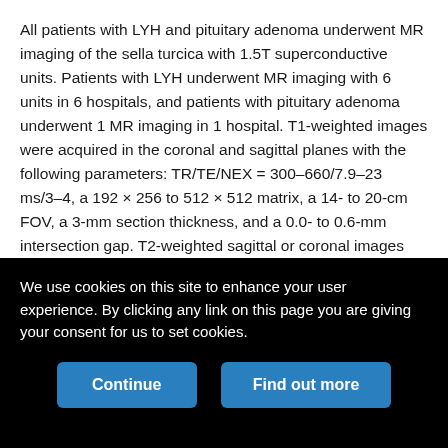All patients with LYH and pituitary adenoma underwent MR imaging of the sella turcica with 1.5T superconductive units. Patients with LYH underwent MR imaging with 6 units in 6 hospitals, and patients with pituitary adenoma underwent 1 MR imaging in 1 hospital. T1-weighted images were acquired in the coronal and sagittal planes with the following parameters: TR/TE/NEX = 300–660/7.9–23 ms/3–4, a 192 × 256 to 512 × 512 matrix, a 14- to 20-cm FOV, a 3-mm section thickness, and a 0.0- to 0.6-mm intersection gap. T2-weighted sagittal or coronal images were obtained with the following parameters: TR/TE/NEX = 2000–3500/80–120 ms/3–4, a 192 × 256 to 512 × 512 matrix, a 14- to 20-cm FOV, a 3-mm section thickness, and a 0.0- to 0.6-mm intersection gap. T1-weighted images after an intravenous injection of contrast medium (0.1 mmol/kg of body
We use cookies on this site to enhance your user experience. By clicking any link on this page you are giving your consent for us to set cookies.